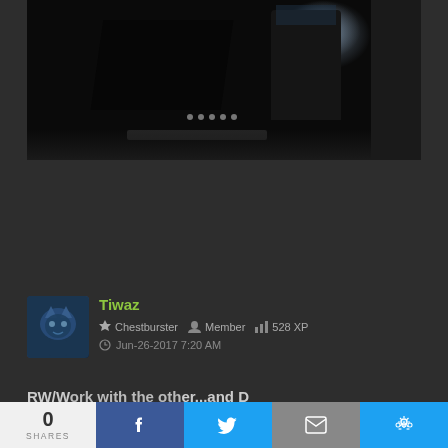[Figure (photo): Dark screenshot or photo showing a dimly lit interior scene, possibly a gaming screenshot or cinematic image with dark tones, some light sources, and a row of dots visible]
Tiwaz
Chestburster  Member  528 XP
Jun-26-2017 7:20 AM
RW/W... (partial text)
0 SHARES  [Facebook share]  [Twitter share]  [Email share]  [More share options]